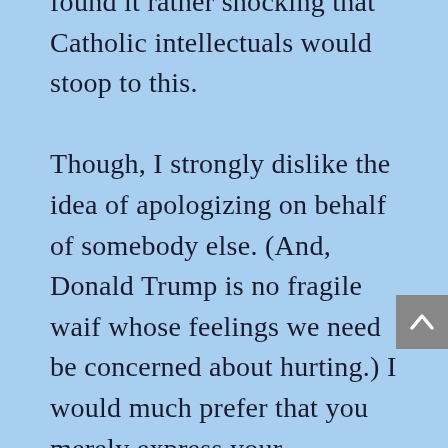found it rather shocking that Catholic intellectuals would stoop to this.

Though, I strongly dislike the idea of apologizing on behalf of somebody else. (And, Donald Trump is no fragile waif whose feelings we need be concerned about hurting.) I would much prefer that you merely express your